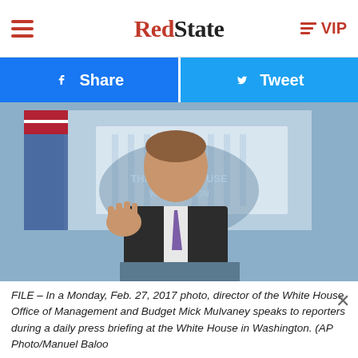RedState VIP
Share | Tweet
[Figure (photo): A man in a dark suit with a purple striped tie gestures with one hand raised, speaking at a podium in front of a White House briefing room backdrop with the American flag visible.]
FILE – In a Monday, Feb. 27, 2017 photo, director of the White House Office of Management and Budget Mick Mulvaney speaks to reporters during a daily press briefing at the White House in Washington. (AP Photo/Manuel Baloo